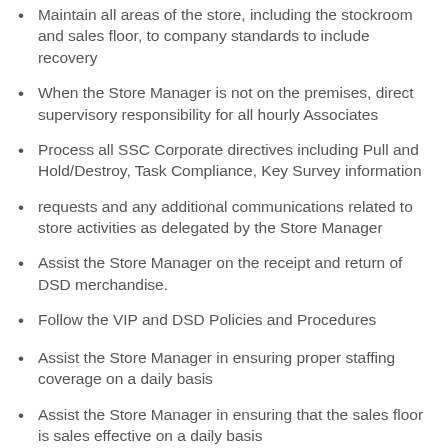Maintain all areas of the store, including the stockroom and sales floor, to company standards to include recovery
When the Store Manager is not on the premises, direct supervisory responsibility for all hourly Associates
Process all SSC Corporate directives including Pull and Hold/Destroy, Task Compliance, Key Survey information
requests and any additional communications related to store activities as delegated by the Store Manager
Assist the Store Manager on the receipt and return of DSD merchandise.
Follow the VIP and DSD Policies and Procedures
Assist the Store Manager in ensuring proper staffing coverage on a daily basis
Assist the Store Manager in ensuring that the sales floor is sales effective on a daily basis
Assist in the management of cashiering activities to ensure all company cash handling practices & guidelines are followed at all times by all Associates